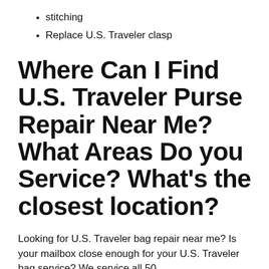stitching
Replace U.S. Traveler clasp
Where Can I Find U.S. Traveler Purse Repair Near Me? What Areas Do you Service? What's the closest location?
Looking for U.S. Traveler bag repair near me? Is your mailbox close enough for your U.S. Traveler bag service? We service all 50...